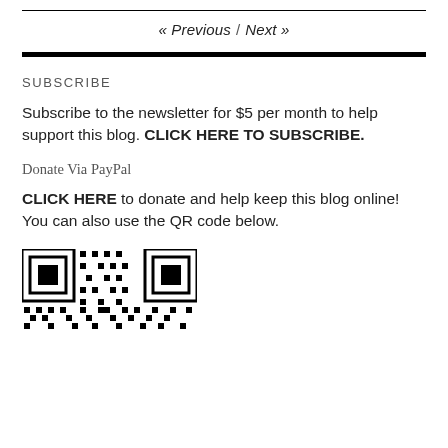« Previous / Next »
SUBSCRIBE
Subscribe to the newsletter for $5 per month to help support this blog. CLICK HERE TO SUBSCRIBE.
Donate Via PayPal
CLICK HERE to donate and help keep this blog online!
You can also use the QR code below.
[Figure (other): QR code for PayPal donation]